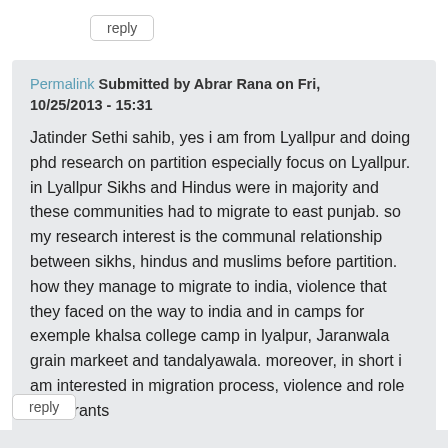reply
Permalink Submitted by Abrar Rana on Fri, 10/25/2013 - 15:31
Jatinder Sethi sahib, yes i am from Lyallpur and doing phd research on partition especially focus on Lyallpur. in Lyallpur Sikhs and Hindus were in majority and these communities had to migrate to east punjab. so my research interest is the communal relationship between sikhs, hindus and muslims before partition. how they manage to migrate to india, violence that they faced on the way to india and in camps for exemple khalsa college camp in lyalpur, Jaranwala grain markeet and tandalyawala. moreover, in short i am interested in migration process, violence and role of migrants
reply